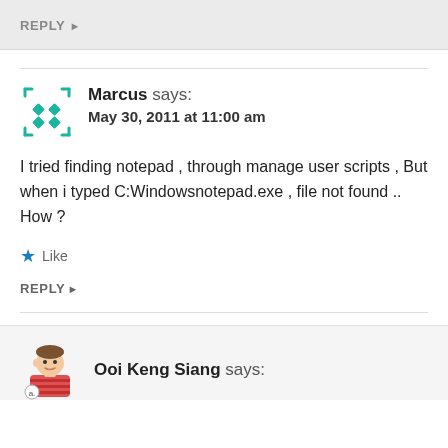REPLY ▶
Marcus says:
May 30, 2011 at 11:00 am
I tried finding notepad , through manage user scripts , But when i typed C:Windowsnotepad.exe , file not found .. How ?
Like
REPLY ▶
Ooi Keng Siang says: